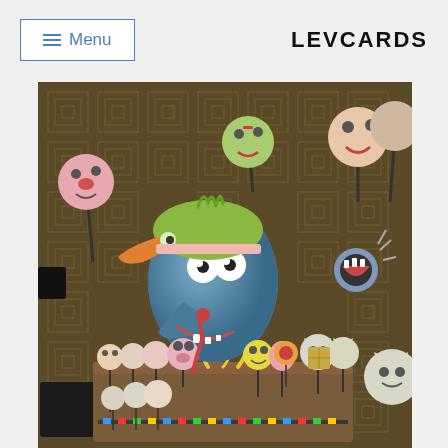≡ Menu | LEVCARDS
[Figure (illustration): Colorful cartoon illustration showing a large blue monster/creature wearing a bird-shaped hat, surrounded by lollipops with monster faces on them, all set against a dark brown geometric patterned background. The creature stands on a platform with many small character lollipops around its base.]